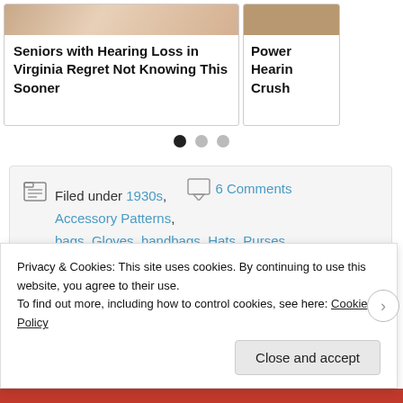[Figure (photo): Two advertisement cards partially visible at top - left card: skin/hand photo with text 'Seniors with Hearing Loss in Virginia Regret Not Knowing This Sooner'; right card: partial skin-tone image with text 'Power Hearing Crush']
• (dot navigation indicators)
Filed under 1930s, 6 Comments
Accessory Patterns,
bags, Gloves, handbags, Hats, Purses,
Vintage Accessories
Tagged as 1930s fashions, 1930s styles,
Belgian hare fur 1930s, Butterick 5149
summer dress from 1933 1930s,
Butterick 5158 summer dress creedy
Privacy & Cookies: This site uses cookies. By continuing to use this website, you agree to their use.
To find out more, including how to control cookies, see here: Cookie Policy
Close and accept